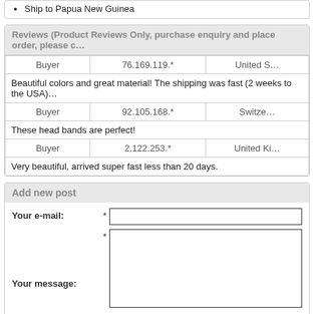Ship to Papua New Guinea
Reviews (Product Reviews Only, purchase enquiry and place order, please c…)
| Buyer | 76.169.119.* | United S… |
| --- | --- | --- |
| Beautiful colors and great material! The shipping was fast (2 weeks to the USA) |
| Buyer | 92.105.168.* | Switze… |
| These head bands are perfect! |
| Buyer | 2.122.253.* | United Ki… |
| Very beautiful, arrived super fast less than 20 days. |
Add new post
Your e-mail:
Your message:
Answer :